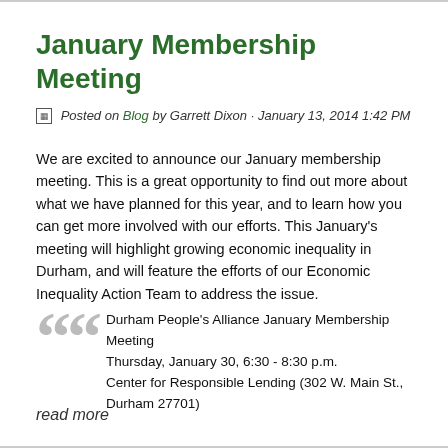January Membership Meeting
Posted on Blog by Garrett Dixon · January 13, 2014 1:42 PM
We are excited to announce our January membership meeting. This is a great opportunity to find out more about what we have planned for this year, and to learn how you can get more involved with our efforts. This January's meeting will highlight growing economic inequality in Durham, and will feature the efforts of our Economic Inequality Action Team to address the issue.
Durham People's Alliance January Membership Meeting Thursday, January 30, 6:30 - 8:30 p.m. Center for Responsible Lending (302 W. Main St., Durham 27701)
read more